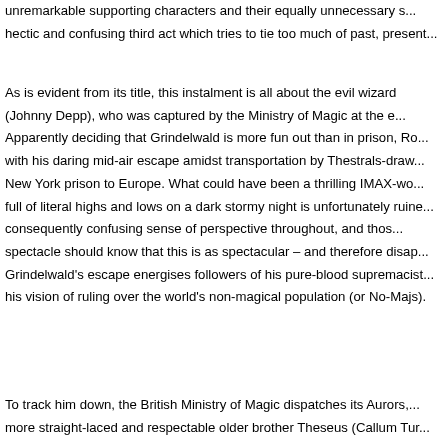unremarkable supporting characters and their equally unnecessary s... hectic and confusing third act which tries to tie too much of past, present...
As is evident from its title, this instalment is all about the evil wizard (Johnny Depp), who was captured by the Ministry of Magic at the e... Apparently deciding that Grindelwald is more fun out than in prison, Ro... with his daring mid-air escape amidst transportation by Thestrals-draw... New York prison to Europe. What could have been a thrilling IMAX-wo... full of literal highs and lows on a dark stormy night is unfortunately ruine... consequently confusing sense of perspective throughout, and thos... spectacle should know that this is as spectacular – and therefore disap... Grindelwald's escape energises followers of his pure-blood supremacist... his vision of ruling over the world's non-magical population (or No-Majs).
To track him down, the British Ministry of Magic dispatches its Aurors,... more straight-laced and respectable older brother Theseus (Callum Tur... love interest Tina Goldstein (Katherine Waterston). Newt himself is e... than Hogwarts' Professor Albus Dumbledore (Jude Law) to go after G... why Albus refuses to pursue Grindelwald himself only becomes clearer... for the adventure from the last movie too are Tina's daffy but loveable s... Sudol) and her Muggle boyfriend Jacob (Dan Fogler), whose agreeable...